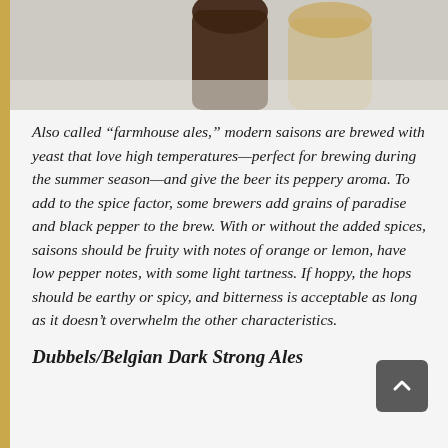[Figure (photo): Top portion of a photo showing beer bottles and glassware, cropped at the top of the page]
Also called “farmhouse ales,” modern saisons are brewed with yeast that love high temperatures—perfect for brewing during the summer season—and give the beer its peppery aroma. To add to the spice factor, some brewers add grains of paradise and black pepper to the brew. With or without the added spices, saisons should be fruity with notes of orange or lemon, have low pepper notes, with some light tartness. If hoppy, the hops should be earthy or spicy, and bitterness is acceptable as long as it doesn’t overwhelm the other characteristics.
Dubbels/Belgian Dark Strong Ales